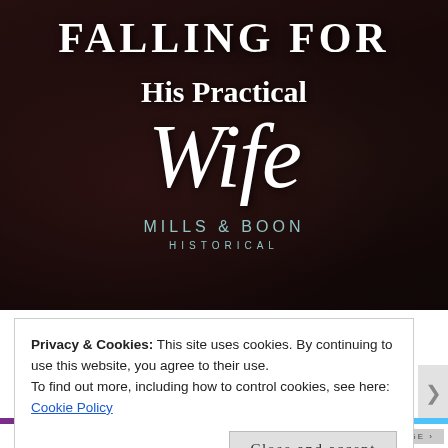[Figure (illustration): Book cover for 'Falling For His Practical Wife' published by Mills & Boon Historical. Dark romantic background showing a couple in period costume. Title text overlaid: 'FALLING FOR' in large serif caps, 'His Practical' in bold, 'Wife' in large italic script. Publisher name 'MILLS & BOON' and 'HISTORICAL' at bottom of image.]
A viscount in waiting
Privacy & Cookies: This site uses cookies. By continuing to use this website, you agree to their use.
To find out more, including how to control cookies, see here:
Cookie Policy
Close and accept